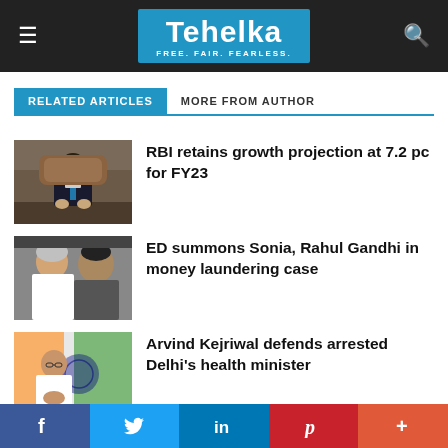Tehelka — FREE. FAIR. FEARLESS.
RELATED ARTICLES
MORE FROM AUTHOR
[Figure (photo): Man in suit seated at desk]
RBI retains growth projection at 7.2 pc for FY23
[Figure (photo): Two people in conversation, political figures]
ED summons Sonia, Rahul Gandhi in money laundering case
[Figure (photo): Man seated with Indian flag in background]
Arvind Kejriwal defends arrested Delhi's health minister
f  Twitter  in  Pinterest  +